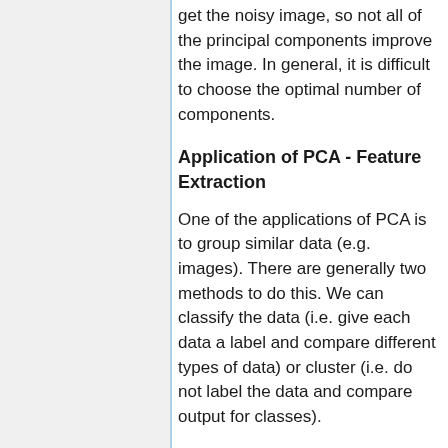get the noisy image, so not all of the principal components improve the image. In general, it is difficult to choose the optimal number of components.
Application of PCA - Feature Extraction
One of the applications of PCA is to group similar data (e.g. images). There are generally two methods to do this. We can classify the data (i.e. give each data a label and compare different types of data) or cluster (i.e. do not label the data and compare output for classes).
Generally speaking, we can do this with the entire data set (if we have an 8X8 picture, we can use all 64 pixels). However, this is hard, and it is easier to use the reduced data and features of the data.